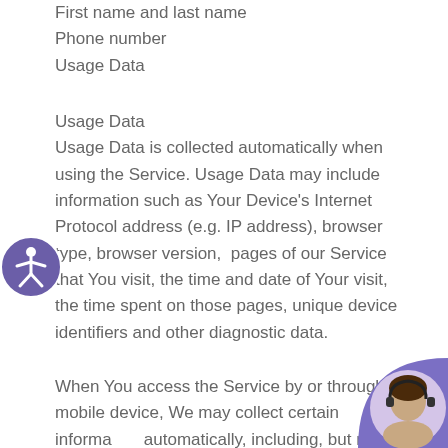First name and last name
Phone number
Usage Data
Usage Data
Usage Data is collected automatically when using the Service. Usage Data may include information such as Your Device's Internet Protocol address (e.g. IP address), browser type, browser version, pages of our Service that You visit, the time and date of Your visit, the time spent on those pages, unique device identifiers and other diagnostic data.
When You access the Service by or through a mobile device, We may collect certain information automatically, including, but not limited to, the type of mobile device You use, Your mobile device unique ID, the IP address of Your mobile device,